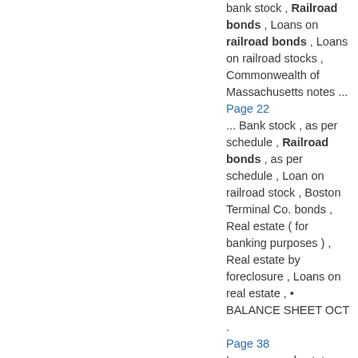bank stock , Railroad bonds , Loans on railroad bonds , Loans on railroad stocks , Commonwealth of Massachusetts notes ... Page 22 ... Bank stock , as per schedule , Railroad bonds , as per schedule , Loan on railroad stock , Boston Terminal Co. bonds , Real estate ( for banking purposes ) , Real estate by foreclosure , Loans on real estate , • BALANCE SHEET OCT . Page 38 Loans on real estate , Railroad bonds , as per schedule , Loan on railroad stock , Loans on personal security , Loans